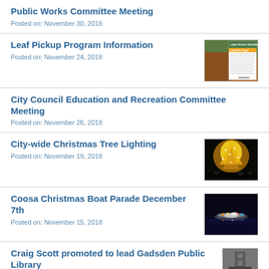Public Works Committee Meeting
Posted on: November 30, 2018
Leaf Pickup Program Information
Posted on: November 24, 2018
[Figure (photo): Leaf Pickup Program informational flyer with orange header text and autumn leaves photo]
City Council Education and Recreation Committee Meeting
Posted on: November 26, 2018
City-wide Christmas Tree Lighting
Posted on: November 19, 2018
[Figure (photo): A brightly lit Christmas tree at night with golden lights and crowd in background]
Coosa Christmas Boat Parade December 7th
Posted on: November 15, 2018
[Figure (photo): A lit boat on a dark river at night for the Coosa Christmas Boat Parade]
Craig Scott promoted to lead Gadsden Public Library
[Figure (photo): Interior or exterior photo related to Gadsden Public Library]